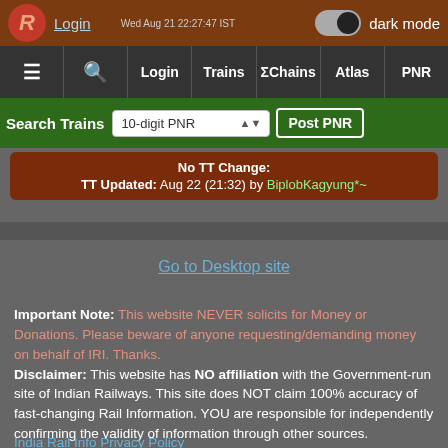Login | dark mode | Wed Aug 21 22:27:47 IST
≡ | 🔍 | Login | Trains | ΣChains | Atlas | PNR
Search Trains | 10-digit PNR | Post PNR
No TT Change: TT Updated: Aug 22 (21:32) by BiplobKagyung*~
Go to Desktop site
Important Note: This website NEVER solicits for Money or Donations. Please beware of anyone requesting/demanding money on behalf of IRI. Thanks. Disclaimer: This website has NO affiliation with the Government-run site of Indian Railways. This site does NOT claim 100% accuracy of fast-changing Rail Information. YOU are responsible for independently confirming the validity of information through other sources.
India Rail Info Privacy Policy